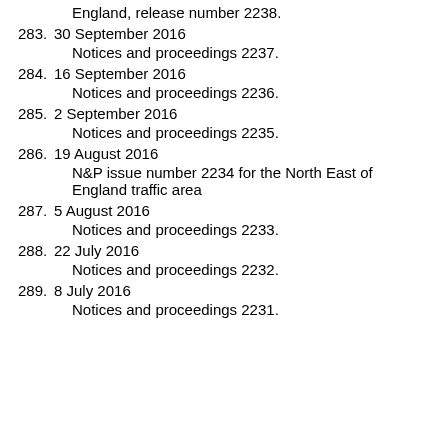England, release number 2238.
283. 30 September 2016
    Notices and proceedings 2237.
284. 16 September 2016
    Notices and proceedings 2236.
285. 2 September 2016
    Notices and proceedings 2235.
286. 19 August 2016
    N&P issue number 2234 for the North East of England traffic area
287. 5 August 2016
    Notices and proceedings 2233.
288. 22 July 2016
    Notices and proceedings 2232.
289. 8 July 2016
    Notices and proceedings 2231.